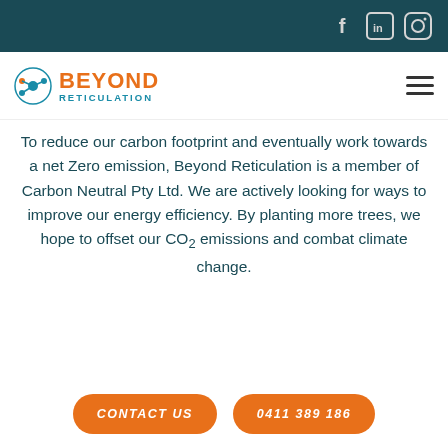Social media icons: Facebook, LinkedIn, Instagram
[Figure (logo): Beyond Reticulation logo with teal circular icon and orange BEYOND text, teal RETICULATION subtext, plus hamburger menu icon]
To reduce our carbon footprint and eventually work towards a net Zero emission, Beyond Reticulation is a member of Carbon Neutral Pty Ltd. We are actively looking for ways to improve our energy efficiency. By planting more trees, we hope to offset our CO₂ emissions and combat climate change.
CONTACT US
0411 389 186